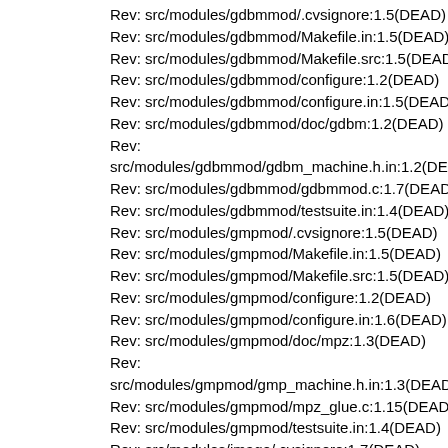Rev: src/modules/gdbmmod/.cvsignore:1.5(DEAD)
Rev: src/modules/gdbmmod/Makefile.in:1.5(DEAD)
Rev: src/modules/gdbmmod/Makefile.src:1.5(DEAD)
Rev: src/modules/gdbmmod/configure:1.2(DEAD)
Rev: src/modules/gdbmmod/configure.in:1.5(DEAD)
Rev: src/modules/gdbmmod/doc/gdbm:1.2(DEAD)
Rev: src/modules/gdbmmod/gdbm_machine.h.in:1.2(DEAD)
Rev: src/modules/gdbmmod/gdbmmod.c:1.7(DEAD)
Rev: src/modules/gdbmmod/testsuite.in:1.4(DEAD)
Rev: src/modules/gmpmod/.cvsignore:1.5(DEAD)
Rev: src/modules/gmpmod/Makefile.in:1.5(DEAD)
Rev: src/modules/gmpmod/Makefile.src:1.5(DEAD)
Rev: src/modules/gmpmod/configure:1.2(DEAD)
Rev: src/modules/gmpmod/configure.in:1.6(DEAD)
Rev: src/modules/gmpmod/doc/mpz:1.3(DEAD)
Rev: src/modules/gmpmod/gmp_machine.h.in:1.3(DEAD)
Rev: src/modules/gmpmod/mpz_glue.c:1.15(DEAD)
Rev: src/modules/gmpmod/testsuite.in:1.4(DEAD)
Rev: src/modules/image/.cvsignore:1.7(DEAD)
Rev: src/modules/image/Makefile.in:1.7(DEAD)
Rev: src/modules/image/Makefile.src:1.11(DEAD)
Rev: src/modules/image/blit.c:1.11(DEAD)
Rev: src/modules/image/config.h.in:1.2(DEAD)